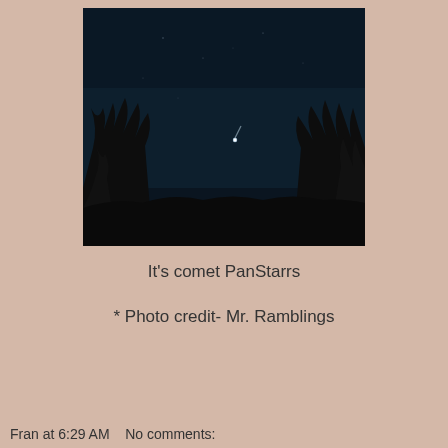[Figure (photo): Night sky photograph showing dark sky with silhouetted trees and a faint comet (PanStarrs) visible as a small bright point with a tail]
It's comet PanStarrs
* Photo credit- Mr. Ramblings
Fran at 6:29 AM   No comments: